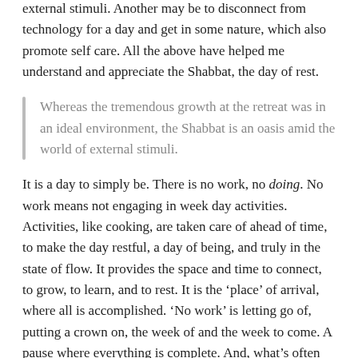external stimuli. Another may be to disconnect from technology for a day and get in some nature, which also promote self care. All the above have helped me understand and appreciate the Shabbat, the day of rest.
Whereas the tremendous growth at the retreat was in an ideal environment, the Shabbat is an oasis amid the world of external stimuli.
It is a day to simply be. There is no work, no doing. No work means not engaging in week day activities. Activities, like cooking, are taken care of ahead of time, to make the day restful, a day of being, and truly in the state of flow. It provides the space and time to connect, to grow, to learn, and to rest. It is the ‘place’ of arrival, where all is accomplished. ‘No work’ is letting go of, putting a crown on, the week of and the week to come. A pause where everything is complete. And, what’s often disregarded, this